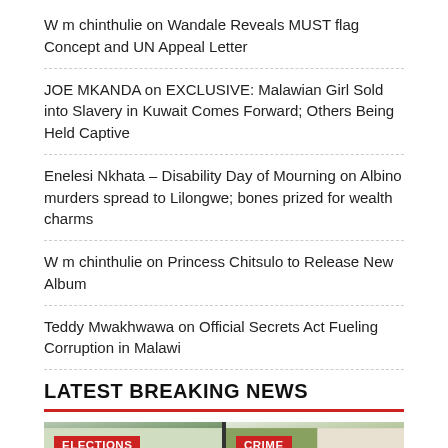W m chinthulie on Wandale Reveals MUST flag Concept and UN Appeal Letter
JOE MKANDA on EXCLUSIVE: Malawian Girl Sold into Slavery in Kuwait Comes Forward; Others Being Held Captive
Enelesi Nkhata – Disability Day of Mourning on Albino murders spread to Lilongwe; bones prized for wealth charms
W m chinthulie on Princess Chitsulo to Release New Album
Teddy Mwakhwawa on Official Secrets Act Fueling Corruption in Malawi
LATEST BREAKING NEWS
[Figure (photo): Two news thumbnails side by side. Left card labeled ELECTIONS shows people seated at a table with a red tablecloth. Right card labeled CRIME shows a person holding a sign reading WE NEED ACTION NOW! PROTECT US!]